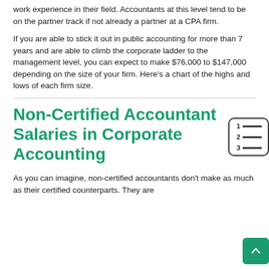work experience in their field. Accountants at this level tend to be on the partner track if not already a partner at a CPA firm.
If you are able to stick it out in public accounting for more than 7 years and are able to climb the corporate ladder to the management level, you can expect to make $76,000 to $147,000 depending on the size of your firm. Here's a chart of the highs and lows of each firm size.
Non-Certified Accountant Salaries in Corporate Accounting
As you can imagine, non-certified accountants don't make as much as their certified counterparts. They are